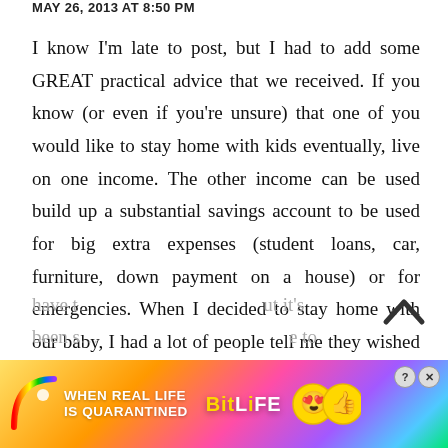MAY 26, 2013 AT 8:50 PM
I know I'm late to post, but I had to add some GREAT practical advice that we received. If you know (or even if you're unsure) that one of you would like to stay home with kids eventually, live on one income. The other income can be used build up a substantial savings account to be used for big extra expenses (student loans, car, furniture, down payment on a house) or for emergencies. When I decided to stay home with our baby, I had a lot of people tell me they wished they could do the same, but they couldn't make it work financially. Now, living on one income meant we had to make frugal decisions and couldn't have t... but it's been s... to
[Figure (infographic): BitLife advertisement banner: 'WHEN REAL LIFE IS QUARANTINED' with BitLife logo and emoji icons, with close/question mark buttons in top right corner]